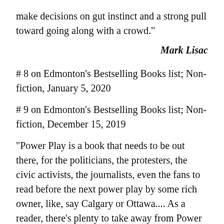make decisions on gut instinct and a strong pull toward going along with a crowd."
Mark Lisac
# 8 on Edmonton's Bestselling Books list; Non-fiction, January 5, 2020
# 9 on Edmonton's Bestselling Books list; Non-fiction, December 15, 2019
"Power Play is a book that needs to be out there, for the politicians, the protesters, the civic activists, the journalists, even the fans to read before the next power play by some rich owner, like, say Calgary or Ottawa.... As a reader, there's plenty to take away from Power Play, from the deep respect of all the research for the book to befuddlement at how public funds continue to fund rich people's toys." [Full